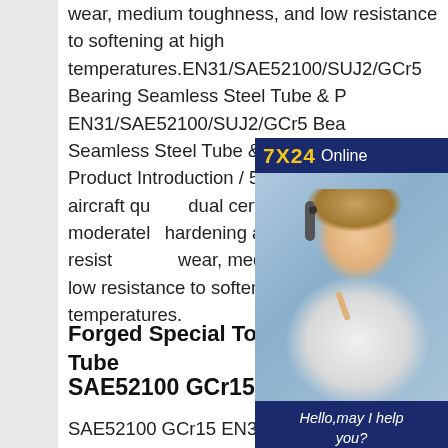wear, medium toughness, and low resistance to softening at high temperatures.EN31/SAE52100/SUJ2/GCr5 Bearing Seamless Steel Tube & Pipe EN31/SAE52100/SUJ2/GCr5 Bearing Seamless Steel Tube & Pipe for Mechanical Product Introduction / 52100 bearing quality / aircraft quality dual certified steel is a moderately hardening alloy having high resistance to wear, medium toughness, and low resistance to softening at high temperatures.
[Figure (other): Online chat widget with '7X24 Online' header, photo of a female customer service representative wearing a headset, text 'Hello, may I help you?' and a yellow 'Get Latest Price' button on dark blue background.]
Forged Special Tool Steel Round Tube
SAE52100 GCr15
SAE52100 GCr15 EN31 SUJ2 Hot Rolled Alloy Tool Steel Special Steel GCr15